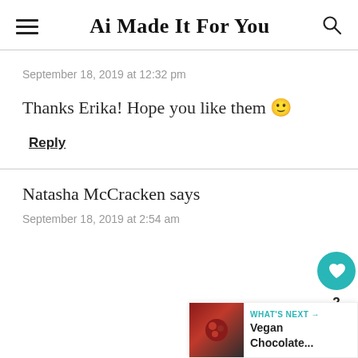Ai Made It For You
September 18, 2019 at 12:32 pm
Thanks Erika! Hope you like them 🙂
Reply
Natasha McCracken says
September 18, 2019 at 2:54 am
[Figure (other): Floating action buttons: teal heart button with count 2, and share button]
[Figure (other): What's Next panel with thumbnail image and text 'Vegan Chocolate...']